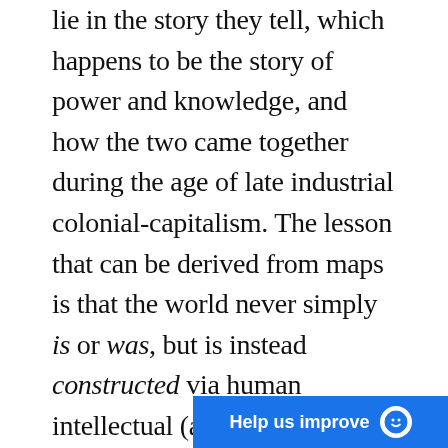lie in the story they tell, which happens to be the story of power and knowledge, and how the two came together during the age of late industrial colonial-capitalism. The lesson that can be derived from maps is that the world never simply is or was, but is instead constructed via human intellectual (and martial) effort, and put together into a coherent whole that can be seen and known.
The maps of Asia I have discussed in this essay tell us something about how the idea of “Asia” came about, and how Asia